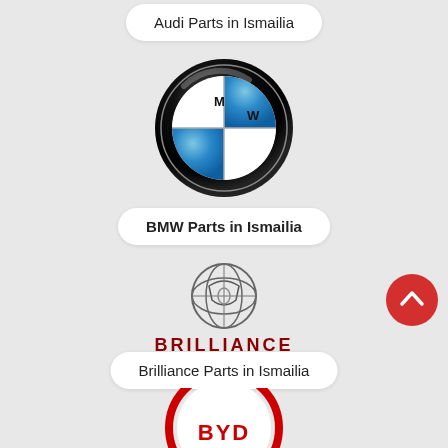Audi Parts in Ismailia
[Figure (logo): BMW circular logo with black ring, blue and white quadrant design]
BMW Parts in Ismailia
[Figure (logo): Brilliance Auto logo — circular emblem with globe-like lines and a wing/shield shape, above the text BRILLIANCE in dark red bold capitals]
Brilliance Parts in Ismailia
[Figure (logo): BYD logo — partial red circular badge visible at bottom, white letters BYD inside]